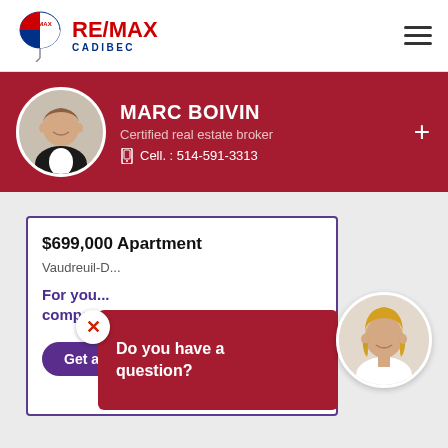[Figure (logo): RE/MAX Cadibec logo with balloon icon]
MARC BOIVIN
Certified real estate broker
Cell. : 514-591-3313
$699,000 Apartment
Vaudreuil-D...
For you... compa...
Do you have a question?
Get a quote